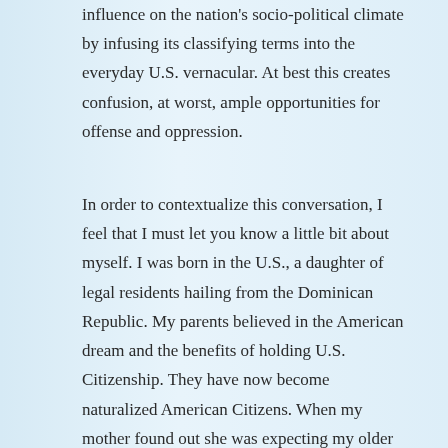influence on the nation's socio-political climate by infusing its classifying terms into the everyday U.S. vernacular. At best this creates confusion, at worst, ample opportunities for offense and oppression.
In order to contextualize this conversation, I feel that I must let you know a little bit about myself. I was born in the U.S., a daughter of legal residents hailing from the Dominican Republic. My parents believed in the American dream and the benefits of holding U.S. Citizenship. They have now become naturalized American Citizens. When my mother found out she was expecting my older sister, they uprooted from San Cristobal, Dominican Republic to Fort Lauderdale, Florida. Two and a half years later, I was born, and two months